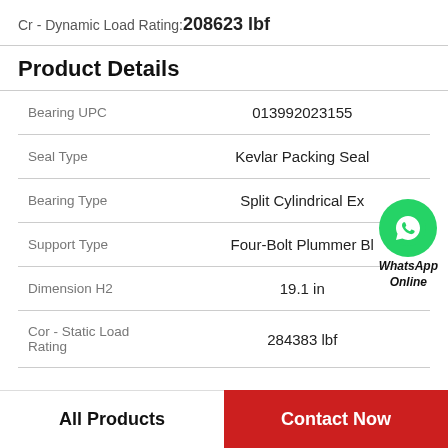Cr - Dynamic Load Rating: 208623 lbf
Product Details
| Property | Value |
| --- | --- |
| Bearing UPC | 013992023155 |
| Seal Type | Kevlar Packing Seal |
| Bearing Type | Split Cylindrical Ex |
| Support Type | Four-Bolt Plummer Bl |
| Dimension H2 | 19.1 in |
| Cor - Static Load Rating | 284383 lbf |
[Figure (illustration): WhatsApp Online contact bubble with green phone icon]
All Products
Contact Now